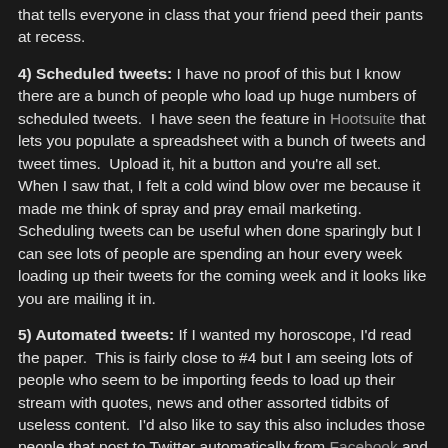that tells everyone in class that your friend peed their pants at recess.
4) Scheduled tweets: I have no proof of this but I know there are a bunch of people who load up huge numbers of scheduled tweets.  I have seen the feature in Hootsuite that lets you populate a spreadsheet with a bunch of tweets and tweet times.  Upload it, hit a button and you're all set.  When I saw that, I felt a cold wind blow over me because it made me think of spray and pray email marketing.  Scheduling tweets can be useful when done sparingly but I can see lots of people are spending an hour every week loading up their tweets for the coming week and it looks like you are mailing it in.
5) Automated tweets: If I wanted my horoscope, I'd read the paper.  This is fairly close to #4 but I am seeing lots of people who seem to be importing feeds to load up their stream with quotes, news and other assorted tidbits of useless content.  I'd also like to say this also includes those people that post to Twitter automatically from Facebook and say they are "on Twitter".  I see the Facebook URL shortener